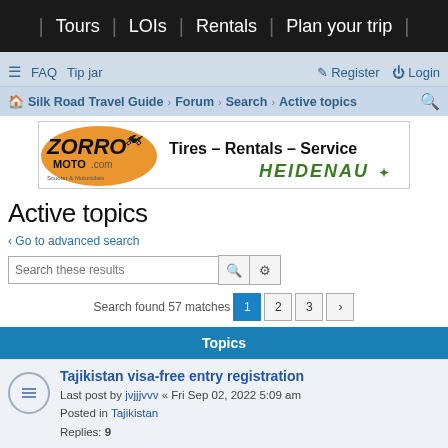Tours | LOIs | Rentals | Plan your trip
FAQ  Tip jar  Register  Login
Silk Road Travel Guide › Forum › Search › Active topics
[Figure (other): ZorroMoto.com advertisement banner: Tires – Rentals – Service, Heidenau logo]
Active topics
< Go to advanced search
Search these results
Search found 57 matches  1  2  3  >
Topics
Tajikistan visa-free entry registration
Last post by jvjjjvvv « Fri Sep 02, 2022 5:09 am
Posted in Tajikistan
Replies: 9